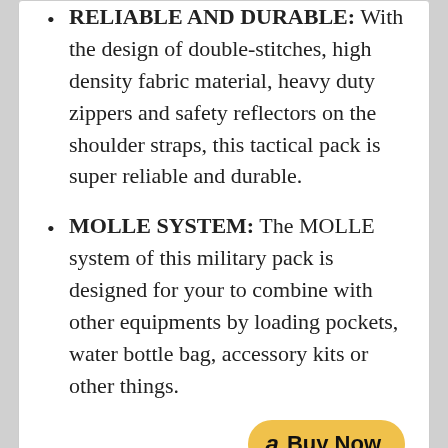RELIABLE AND DURABLE: With the design of double-stitches, high density fabric material, heavy duty zippers and safety reflectors on the shoulder straps, this tactical pack is super reliable and durable.
MOLLE SYSTEM: The MOLLE system of this military pack is designed for your to combine with other equipments by loading pockets, water bottle bag, accessory kits or other things.
[Figure (other): Amazon 'Buy Now' button in gold/yellow rounded rectangle with Amazon logo]